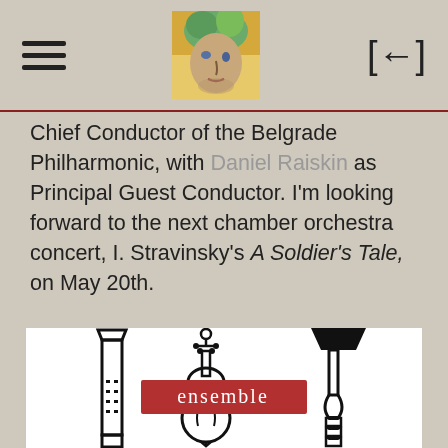[hamburger menu] [portrait logo image] [back arrow]
Chief Conductor of the Belgrade Philharmonic, with Daniel Raiskin as Principal Guest Conductor. I'm looking forward to the next chamber orchestra concert, I. Stravinsky's A Soldier's Tale, on May 20th.
[Figure (logo): Ensemble logo with stylized musical instruments (clarinet, cello/violin, trumpet) in black on white background with a red rectangle containing the word 'ensemble' in white lowercase letters]